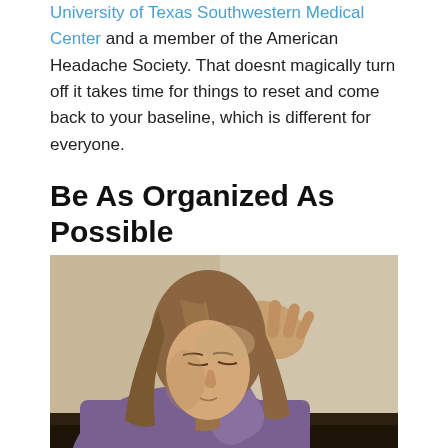University of Texas Southwestern Medical Center and a member of the American Headache Society. That doesnt magically turn off it takes time for things to reset and come back to your baseline, which is different for everyone.
Be As Organized As Possible
[Figure (photo): A young woman with long brown hair holding her hand to her head, eyes closed, in apparent pain or distress, wearing a purple long-sleeve shirt, sitting at a table. Warm-toned background.]